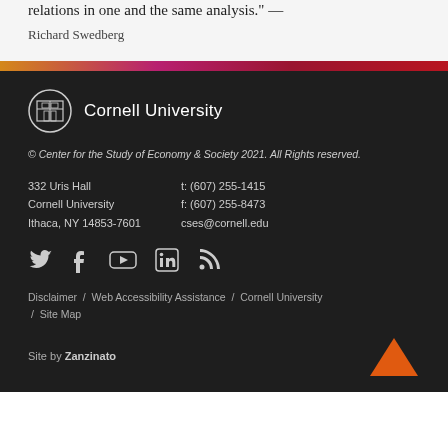relations in one and the same analysis." — Richard Swedberg
[Figure (logo): Cornell University logo with shield emblem and text 'Cornell University']
© Center for the Study of Economy & Society 2021. All Rights reserved.
332 Uris Hall
Cornell University
Ithaca, NY 14853-7601
t: (607) 255-1415
f: (607) 255-8473
cses@cornell.edu
[Figure (infographic): Social media icons: Twitter, Facebook, YouTube, LinkedIn, RSS]
Disclaimer / Web Accessibility Assistance / Cornell University / Site Map
Site by Zanzinato